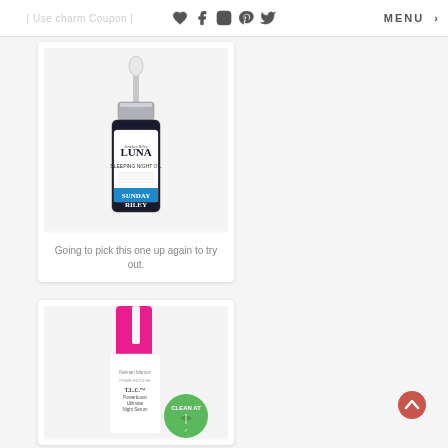| Use charm Coupon |   ♥  f  ⊡  ⓟ  🐦   MENU
[Figure (photo): Product photo of Sunday Riley Luna Sleeping Night Oil bottle with dropper cap, dark bottle with blue label stripe]
Going to pick this one up again to try out.
[Figure (photo): Product photo of a pink and white skincare serum bottle with a green 'Clean At' badge/seal]